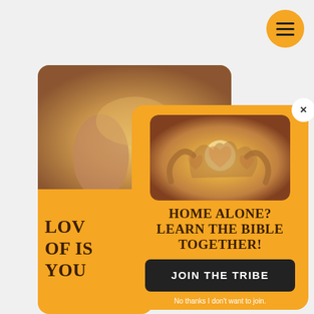[Figure (screenshot): Orange hamburger menu button (circle) in top-right corner]
[Figure (screenshot): Background card showing hands forming hearts photo, partially visible text LOV... / OF IS... / YOU...]
[Figure (screenshot): Foreground popup card with photo of hands forming hearts, headline 'HOME ALONE? LEARN THE BIBLE TOGETHER!', JOIN THE TRIBE button, and decline text]
HOME ALONE? LEARN THE BIBLE TOGETHER!
JOIN THE TRIBE
No thanks I don't want to join.